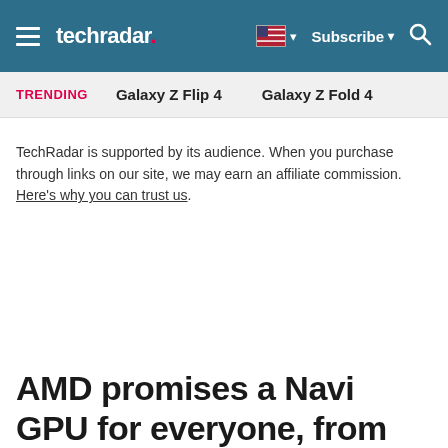techradar | Subscribe
TRENDING   Galaxy Z Flip 4   Galaxy Z Fold 4
TechRadar is supported by its audience. When you purchase through links on our site, we may earn an affiliate commission. Here's why you can trust us.
AMD promises a Navi GPU for everyone, from budget efforts to